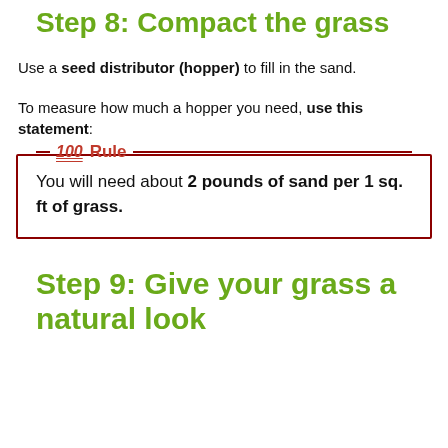Step 8: Compact the grass
Use a seed distributor (hopper) to fill in the sand.
To measure how much a hopper you need, use this statement:
You will need about 2 pounds of sand per 1 sq. ft of grass.
Step 9: Give your grass a natural look